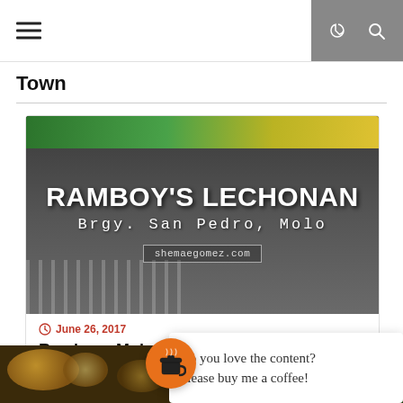☰  [menu] [moon] [search]
Town
[Figure (photo): Photo of Ramboy's Lechonan restaurant front at Brgy. San Pedro, Molo with text overlay showing RAMBOY'S LECHONAN, Brgy. San Pedro, Molo, shemaegomez.com]
June 26, 2017
Ramboys Molo
[Figure (photo): Food photo on the left, coffee buy me a coffee popup in the center with orange coffee cup icon, green food photo on the right]
Do you love the content? Please buy me a coffee!